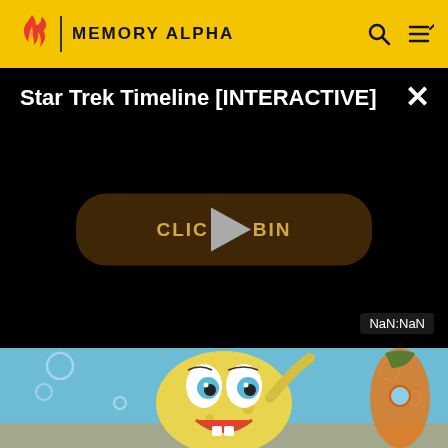MEMORY ALPHA
Star Trek Timeline [INTERACTIVE]
[Figure (screenshot): Video player overlay on black background with 'CLICK TO BEGIN' button and play triangle icon, showing NaN:NaN time badge]
[Figure (illustration): SpongeBob SquarePants cartoon character smiling, set in underwater scene with bubbles and pineapple house]